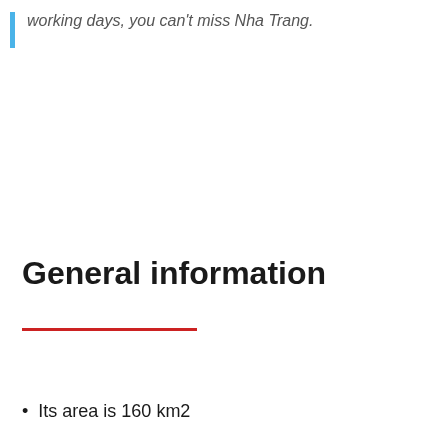working days, you can't miss Nha Trang.
General information
Its area is 160 km2